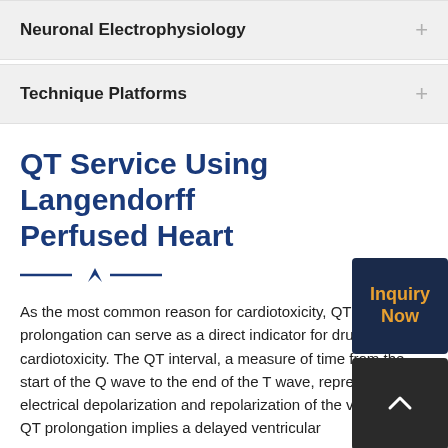Neuronal Electrophysiology
Technique Platforms
QT Service Using Langendorff Perfused Heart
As the most common reason for cardiotoxicity, QT prolongation can serve as a direct indicator for drug cardiotoxicity. The QT interval, a measure of time from the start of the Q wave to the end of the T wave, represents the electrical depolarization and repolarization of the ventricles. QT prolongation implies a delayed ventricular repolarization, which may cause serious cardiac...